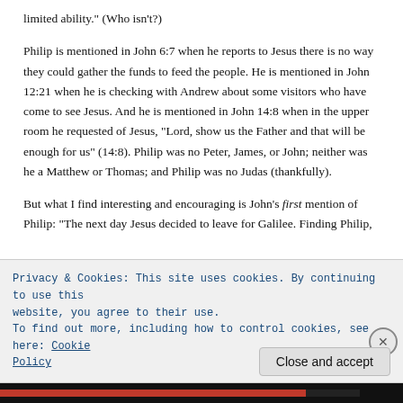limited ability." (Who isn't?)
Philip is mentioned in John 6:7 when he reports to Jesus there is no way they could gather the funds to feed the people. He is mentioned in John 12:21 when he is checking with Andrew about some visitors who have come to see Jesus. And he is mentioned in John 14:8 when in the upper room he requested of Jesus, “Lord, show us the Father and that will be enough for us” (14:8). Philip was no Peter, James, or John; neither was he a Matthew or Thomas; and Philip was no Judas (thankfully).
But what I find interesting and encouraging is John’s first mention of Philip: “The next day Jesus decided to leave for Galilee. Finding Philip,
Privacy & Cookies: This site uses cookies. By continuing to use this website, you agree to their use.
To find out more, including how to control cookies, see here: Cookie Policy
Close and accept